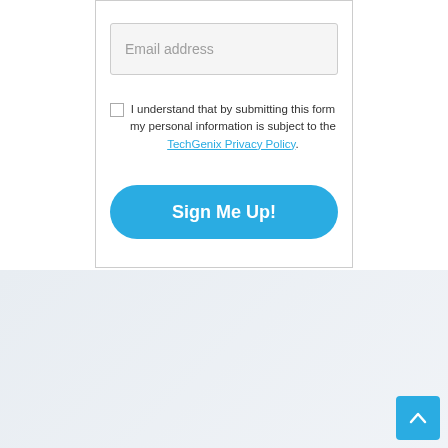Email address
I understand that by submitting this form my personal information is subject to the TechGenix Privacy Policy.
Sign Me Up!
[Figure (logo): TechGenix logo with stylized human figure icon in blue and dark blue, and bold black text 'TechGenix']